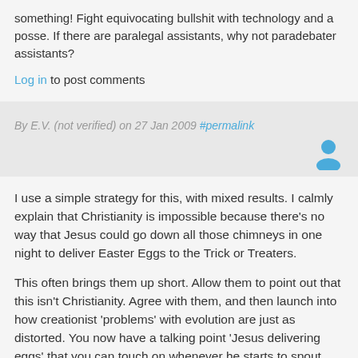something! Fight equivocating bullshit with technology and a posse. If there are paralegal assistants, why not paradebater assistants?
Log in to post comments
By E.V. (not verified) on 27 Jan 2009 #permalink
[Figure (illustration): User avatar icon in blue]
I use a simple strategy for this, with mixed results. I calmly explain that Christianity is impossible because there's no way that Jesus could go down all those chimneys in one night to deliver Easter Eggs to the Trick or Treaters.
This often brings them up short. Allow them to point out that this isn't Christianity. Agree with them, and then launch into how creationist 'problems' with evolution are just as distorted. You now have a talking point 'Jesus delivering eggs' that you can touch on whenever he starts to spout nonsense.